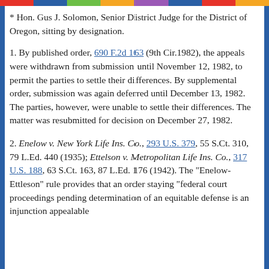* Hon. Gus J. Solomon, Senior District Judge for the District of Oregon, sitting by designation.
1. By published order, 690 F.2d 163 (9th Cir.1982), the appeals were withdrawn from submission until November 12, 1982, to permit the parties to settle their differences. By supplemental order, submission was again deferred until December 13, 1982. The parties, however, were unable to settle their differences. The matter was resubmitted for decision on December 27, 1982.
2. Enelow v. New York Life Ins. Co., 293 U.S. 379, 55 S.Ct. 310, 79 L.Ed. 440 (1935); Ettelson v. Metropolitan Life Ins. Co., 317 U.S. 188, 63 S.Ct. 163, 87 L.Ed. 176 (1942). The "Enelow-Ettleson" rule provides that an order staying "federal court proceedings pending determination of an equitable defense is an injunction appealable